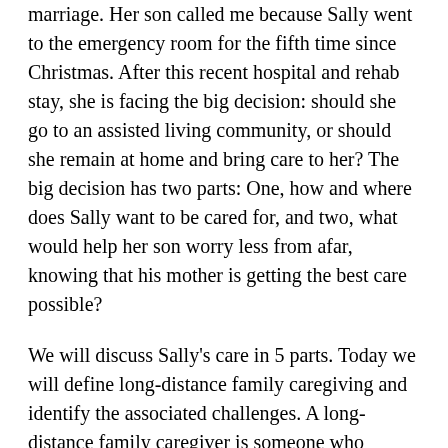marriage. Her son called me because Sally went to the emergency room for the fifth time since Christmas. After this recent hospital and rehab stay, she is facing the big decision: should she go to an assisted living community, or should she remain at home and bring care to her? The big decision has two parts: One, how and where does Sally want to be cared for, and two, what would help her son worry less from afar, knowing that his mother is getting the best care possible?
We will discuss Sally's care in 5 parts. Today we will define long-distance family caregiving and identify the associated challenges. A long-distance family caregiver is someone who assists in the identification, prevention, treatment, care and support for the physical, mental, and psychosocial needs and wellbeing of a child and/or dependent loved one. In Sally's situation, her son is stressed and challenged because he does not have a plan to care for her, and he is too far to provide the care affordable and efficient. Next